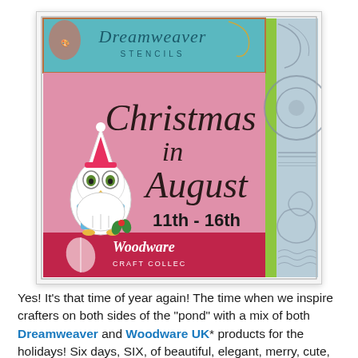[Figure (illustration): Christmas in August promotional banner for Dreamweaver Stencils and Woodware Craft Collection. Features a teal Dreamweaver logo at top left, a pink background with 'Christmas in August 11th - 16th' in cursive script, a cute white owl with a Santa hat and blue scarf, and a Woodware Craft Collection logo at bottom. Right side shows a light blue decorative stencil pattern with an owl design. Bordered with green accent strip.]
Yes! It's that time of year again! The time when we inspire crafters on both sides of the "pond" with a mix of both Dreamweaver and Woodware UK* products for the holidays! Six days, SIX, of beautiful, elegant, merry, cute, artsy, and craftsy projects to have you heading out to your